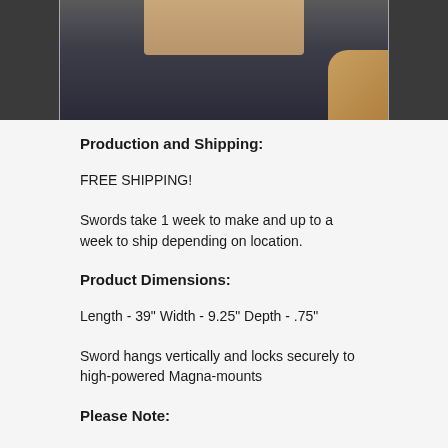[Figure (photo): Partial photo showing what appears to be a person holding or displaying an item, with dark jeans and a tan/wooden background element visible, and a hand at the right edge.]
Production and Shipping:
FREE SHIPPING!
Swords take 1 week to make and up to a week to ship depending on location.
Product Dimensions:
Length - 39" Width - 9.25" Depth - .75"
Sword hangs vertically and locks securely to high-powered Magna-mounts
Please Note: